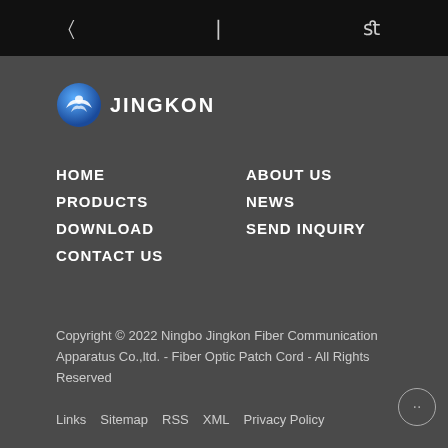[ ] [ ] fl
[Figure (logo): Jingkon logo: blue circular emblem with white bird/wing design, followed by text JINGKON in white bold letters]
HOME
ABOUT US
PRODUCTS
NEWS
DOWNLOAD
SEND INQUIRY
CONTACT US
Copyright © 2022 Ningbo Jingkon Fiber Communication Apparatus Co.,ltd. - Fiber Optic Patch Cord - All Rights Reserved
Links   Sitemap   RSS   XML   Privacy Policy